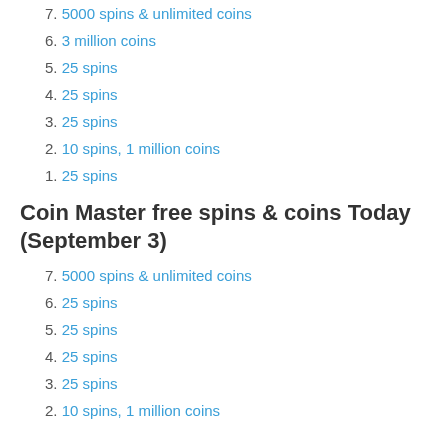7. 5000 spins & unlimited coins
6. 3 million coins
5. 25 spins
4. 25 spins
3. 25 spins
2. 10 spins, 1 million coins
1. 25 spins
Coin Master free spins & coins Today (September 3)
7. 5000 spins & unlimited coins
6. 25 spins
5. 25 spins
4. 25 spins
3. 25 spins
2. 10 spins, 1 million coins